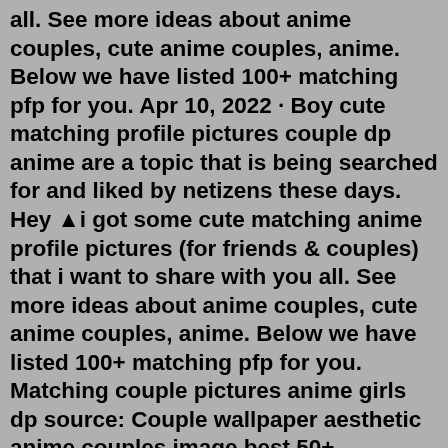all. See more ideas about anime couples, cute anime couples, anime. Below we have listed 100+ matching pfp for you. Apr 10, 2022 · Boy cute matching profile pictures couple dp anime are a topic that is being searched for and liked by netizens these days. Hey 🔺i got some cute matching anime profile pictures (for friends & couples) that i want to share with you all. See more ideas about anime couples, cute anime couples, anime. Below we have listed 100+ matching pfp for you. Matching couple pictures anime girls dp source: Couple wallpaper aesthetic anime couples image best 50+ aesthetic ulzzang girl . In process of adding more.day by day) | see more about anime, icons and. Boy cute matching profile pictures couple dp anime are a topic that is being searched for and liked by netizens these days.Apr 03, 2022 · Cute Matching Pfp Aesthetic Couple Profile Picture / Cute Matching Pfp Wallpapers Wallpaper Cave. Boy cute matching profile pictures couple dp anime are a topic that is being searched for and liked by netizens these days. We will feature photos from some of the best...